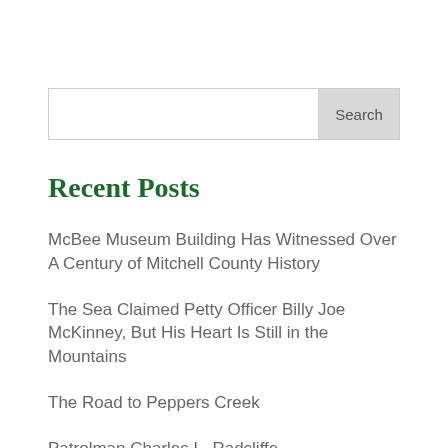Search
Recent Posts
McBee Museum Building Has Witnessed Over A Century of Mitchell County History
The Sea Claimed Petty Officer Billy Joe McKinney, But His Heart Is Still in the Mountains
The Road to Peppers Creek
Patrolman Charles L. Radcliffe